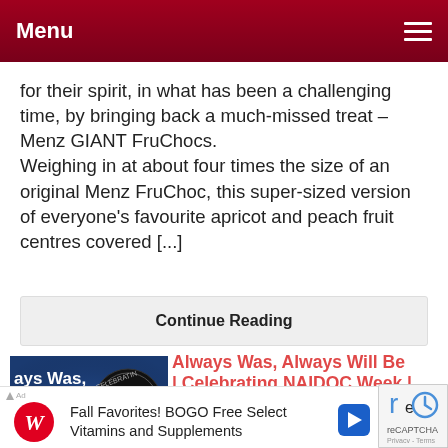Menu
for their spirit, in what has been a challenging time, by bringing back a much-missed treat – Menz GIANT FruChocs.
Weighing in at about four times the size of an original Menz FruChoc, this super-sized version of everyone's favourite apricot and peach fruit centres covered [...]
Continue Reading
[Figure (photo): Blue promotional image for NAIDOC Week 2020 showing text 'Always Was, Always Will Be' with NAIDOC2020 logo and 8 NOV 2020 date]
Always Was, Always Will Be | Celebrating NAIDOC Week | 6-10 Jul 2020
July 5, 2020
[ July 6, 2020 to July 10, 202
[Figure (infographic): Walgreens advertisement: Fall Favorites! BOGO Free Select Vitamins and Supplements]